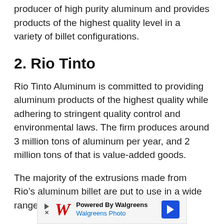producer of high purity aluminum and provides products of the highest quality level in a variety of billet configurations.
2. Rio Tinto
Rio Tinto Aluminum is committed to providing aluminum products of the highest quality while adhering to stringent quality control and environmental laws. The firm produces around 3 million tons of aluminum per year, and 2 million tons of that is value-added goods.
The majority of the extrusions made from Rio’s aluminum billet are put to use in a wide range
[Figure (other): Advertisement banner: Powered By Walgreens / Walgreens Photo with Walgreens W logo and blue diamond arrow icon]